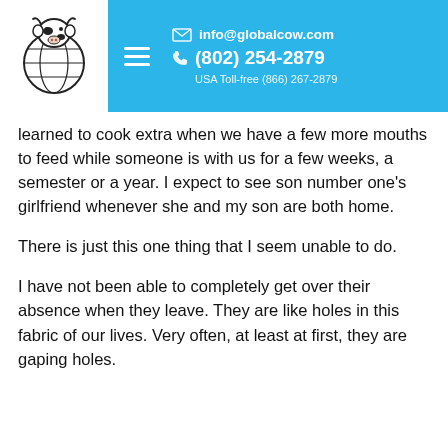info@globalcow.com | (802) 254-2879 | USA Toll-free (866) 267-2879
learned to cook extra when we have a few more mouths to feed while someone is with us for a few weeks, a semester or a year. I expect to see son number one's girlfriend whenever she and my son are both home.
There is just this one thing that I seem unable to do.
I have not been able to completely get over their absence when they leave. They are like holes in this fabric of our lives. Very often, at least at first, they are gaping holes.